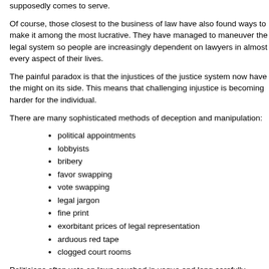supposedly comes to serve.
Of course, those closest to the business of law have also found ways to make it among the most lucrative. They have managed to maneuver the legal system so people are increasingly dependent on lawyers in almost every aspect of their lives.
The painful paradox is that the injustices of the justice system now have the might on its side. This means that challenging injustice is becoming harder for the individual.
There are many sophisticated methods of deception and manipulation:
political appointments
lobbyists
bribery
favor swapping
vote swapping
legal jargon
fine print
exorbitant prices of legal representation
arduous red tape
clogged court rooms
Politicians often vote on laws couched in vague and long carefully crafted language more than reveal the full consequences of what is at stake.
To engage in basic technology and social services the lay person is often required to signing that he/she has read and understood endless fine print in contracts.